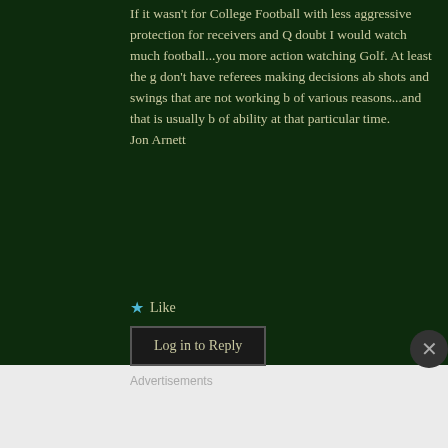If it wasn't for College Football with less aggressive protection for receivers and Q doubt I would watch much football...you more action watching Golf. At least the g don't have referees making decisions ab shots and swings that are not working b of various reasons...and that is usually b of ability at that particular time.
Jon Arnett
Like
Log in to Reply
Advertisements